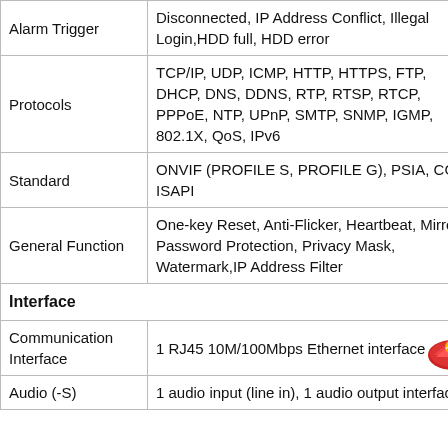| Feature | Description |
| --- | --- |
| Alarm Trigger | Disconnected, IP Address Conflict, Illegal Login,HDD full, HDD error |
| Protocols | TCP/IP, UDP, ICMP, HTTP, HTTPS, FTP, DHCP, DNS, DDNS, RTP, RTSP, RTCP, PPPoE, NTP, UPnP, SMTP, SNMP, IGMP, 802.1X, QoS, IPv6 |
| Standard | ONVIF (PROFILE S, PROFILE G), PSIA, CGI, ISAPI |
| General Function | One-key Reset, Anti-Flicker, Heartbeat, Mirror, Password Protection, Privacy Mask, Watermark,IP Address Filter |
| Interface |  |
| Communication Interface | 1 RJ45 10M/100Mbps Ethernet interface |
| Audio (-S) | 1 audio input (line in), 1 audio output interface |